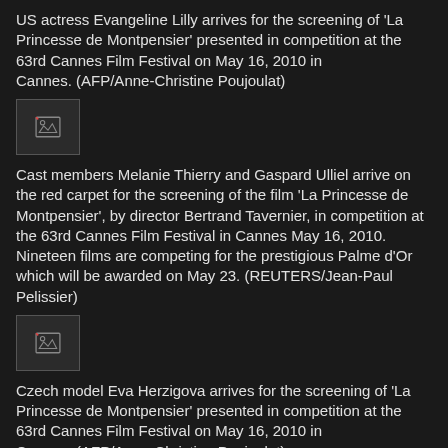US actress Evangeline Lilly arrives for the screening of 'La Princesse de Montpensier' presented in competition at the 63rd Cannes Film Festival on May 16, 2010 in Cannes. (AFP/Anne-Christine Poujoulat)
[Figure (photo): Thumbnail image placeholder with broken image icon]
Cast members Melanie Thierry and Gaspard Ulliel arrive on the red carpet for the screening of the film 'La Princesse de Montpensier', by director Bertrand Tavernier, in competition at the 63rd Cannes Film Festival in Cannes May 16, 2010. Nineteen films are competing for the prestigious Palme d'Or which will be awarded on May 23. (REUTERS/Jean-Paul Pelissier)
[Figure (photo): Thumbnail image placeholder with broken image icon]
Czech model Eva Herzigova arrives for the screening of 'La Princesse de Montpensier' presented in competition at the 63rd Cannes Film Festival on May 16, 2010 in Cannes. (AFP/Anne-Christine Poujoulat)
[Figure (photo): Thumbnail image placeholder with broken image icon]